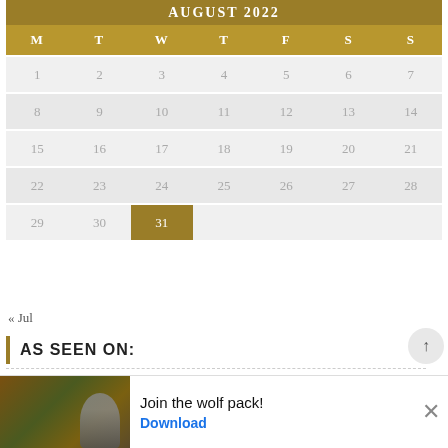| M | T | W | T | F | S | S |
| --- | --- | --- | --- | --- | --- | --- |
| 1 | 2 | 3 | 4 | 5 | 6 | 7 |
| 8 | 9 | 10 | 11 | 12 | 13 | 14 |
| 15 | 16 | 17 | 18 | 19 | 20 | 21 |
| 22 | 23 | 24 | 25 | 26 | 27 | 28 |
| 29 | 30 | 31 |  |  |  |  |
« Jul
AS SEEN ON:
[Figure (logo): The New York Times logo partial]
[Figure (logo): USA TODAY logo with blue circle icon]
[Figure (photo): Advertisement banner: Join the wolf pack! with wolf and character images, Download button]